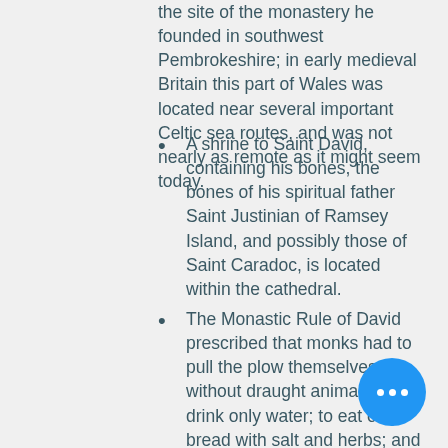the site of the monastery he founded in southwest Pembrokeshire; in early medieval Britain this part of Wales was located near several important Celtic sea routes, and was not nearly as remote as it might seem today.
A shrine to Saint David, containing his bones, the bones of his spiritual father Saint Justinian of Ramsey Island, and possibly those of Saint Caradoc, is located within the cathedral.
The Monastic Rule of David prescribed that monks had to pull the plow themselves without draught animals; to drink only water; to eat only bread with salt and herbs; and to spend the evenings in prayer, reading and writing.
He taught his followers to fast, especially refraining from eating meat or imbibing alcohol.
His symbol, also the symbol of W... is the leek.